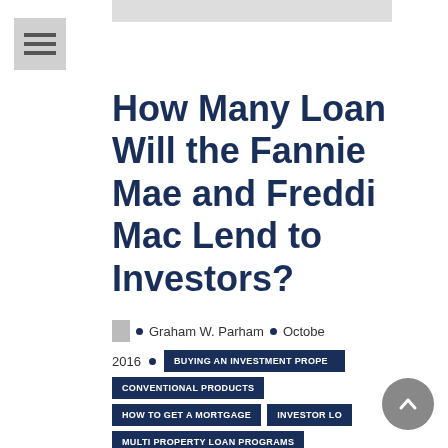[Figure (screenshot): Top navigation bar image strip]
[Figure (illustration): Hamburger menu icon with three horizontal bars]
How Many Loans Will the Fannie Mae and Freddie Mac Lend to Investors?
Graham W. Parham • October 2016
BUYING AN INVESTMENT PROPERTY
CONVENTIONAL PRODUCTS
HOW TO GET A MORTGAGE
INVESTOR LOANS
MULTI PROPERTY LOAN PROGRAMS
OUT OF STATE INVESTING
[Figure (illustration): Gray circular scroll-to-top button with upward chevron arrow]